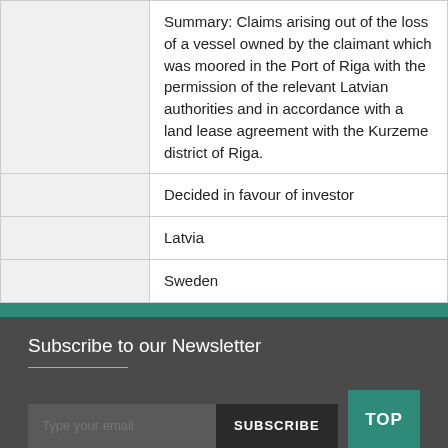|  | Summary: Claims arising out of the loss of a vessel owned by the claimant which was moored in the Port of Riga with the permission of the relevant Latvian authorities and in accordance with a land lease agreement with the Kurzeme district of Riga. |
|  | Decided in favour of investor |
|  | Latvia |
|  | Sweden |
Subscribe to our Newsletter
Type your email
SUBSCRIBE
TOP